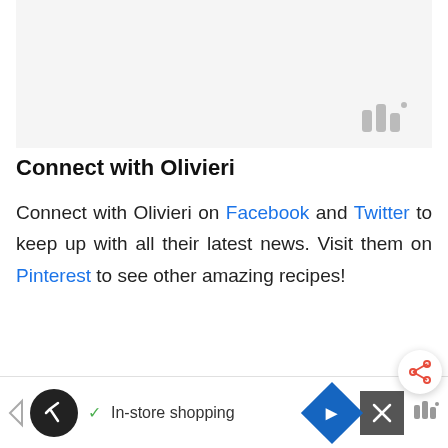[Figure (other): Light gray placeholder image area with a watermark logo in the bottom right corner consisting of three vertical bars of varying heights with a degree symbol]
Connect with Olivieri
Connect with Olivieri on Facebook and Twitter to keep up with all their latest news. Visit them on Pinterest to see other amazing recipes!
Disclosure: This post is brought
[Figure (other): Advertisement bar at the bottom with in-store shopping text, icons including a circular logo, checkmark, navigation diamond and close button]